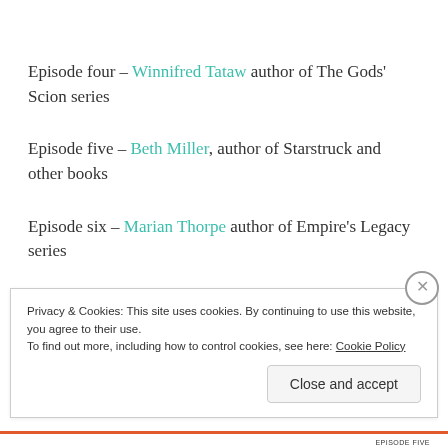Episode four – Winnifred Tataw author of The Gods' Scion series
Episode five – Beth Miller, author of Starstruck and other books
Episode six – Marian Thorpe author of Empire's Legacy series
Privacy & Cookies: This site uses cookies. By continuing to use this website, you agree to their use.
To find out more, including how to control cookies, see here: Cookie Policy
Close and accept